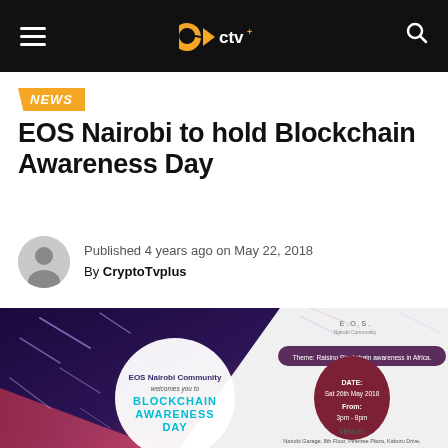CTV (CryptoTvplus) navigation header
NEWS
EOS Nairobi to hold Blockchain Awareness Day
Published 4 years ago on May 22, 2018
By CryptoTvplus
[Figure (illustration): EOS Nairobi Community Blockchain Awareness Day event flyer with dark space background on left side showing shooting stars, and white right panel with event details: Theme: Raising Blockchain awareness in Africa. DATE: Sat 26th May 2018, From: 3pm - 8pm. VENUE: Nairobi Garage, 8th Floor, Pinetree Plaza, Kaburu Drive, Off Ngong Rd, Nairobi. Red button at bottom.]